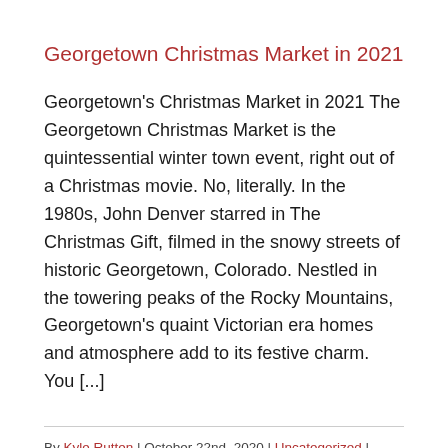Georgetown Christmas Market in 2021
Georgetown's Christmas Market in 2021 The Georgetown Christmas Market is the quintessential winter town event, right out of a Christmas movie. No, literally. In the 1980s, John Denver starred in The Christmas Gift, filmed in the snowy streets of historic Georgetown, Colorado. Nestled in the towering peaks of the Rocky Mountains, Georgetown's quaint Victorian era homes and atmosphere add to its festive charm. You [...]
By Kyle Rutten | October 22nd, 2020 | Uncategorized | Comments Off
Read More >